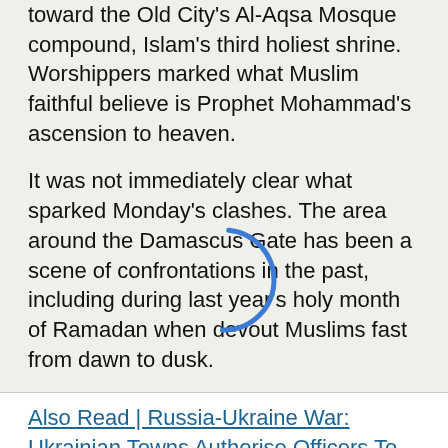toward the Old City's Al-Aqsa Mosque compound, Islam's third holiest shrine. Worshippers marked what Muslim faithful believe is Prophet Mohammad's ascension to heaven.
It was not immediately clear what sparked Monday's clashes. The area around the Damascus Gate has been a scene of confrontations in the past, including during last year's holy month of Ramadan when devout Muslims fast from dawn to dusk.
Also Read | Russia-Ukraine War: Ukrainian Towns Authorise Officers To Shoot Looters on the Spot.
At the time, police prevented Palestinians from gathering at Damascus Gate after breaking their daily fast, as was customary. Nightly clashes erupted, with tensions rapidly spreading and triggering a two-week war between Israel and
We use cookies on our website to give you the most relevant experience by remembering your preferences and repeat visits. By clicking "Accept", you consent to the use of ALL the cookies.